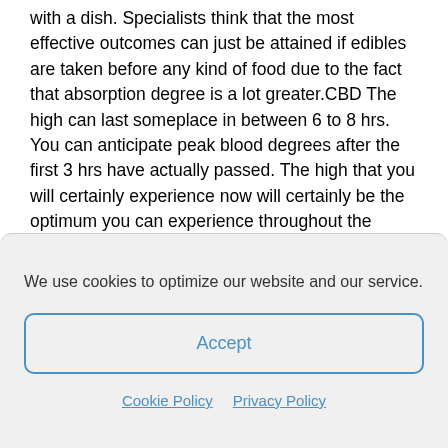with a dish. Specialists think that the most effective outcomes can just be attained if edibles are taken before any kind of food due to the fact that absorption degree is a lot greater.CBD The high can last someplace in between 6 to 8 hrs. You can anticipate peak blood degrees after the first 3 hrs have actually passed. The high that you will certainly experience now will certainly be the optimum you can experience throughout the period.

Finally, ensure to review the tag along with the quantities of
We use cookies to optimize our website and our service.
Accept
Cookie Policy  Privacy Policy